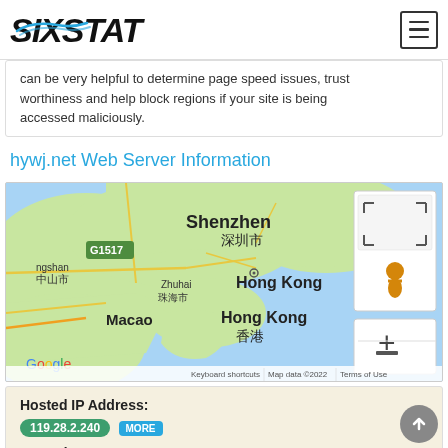SIXSTAT
can be very helpful to determine page speed issues, trustworthiness and help block regions if your site is being accessed maliciously.
hywj.net Web Server Information
[Figure (map): Google Maps view showing Shenzhen, Hong Kong, Macao, Zhuhai area with map controls]
Hosted IP Address: 119.28.2.240 MORE
Hosted Country: